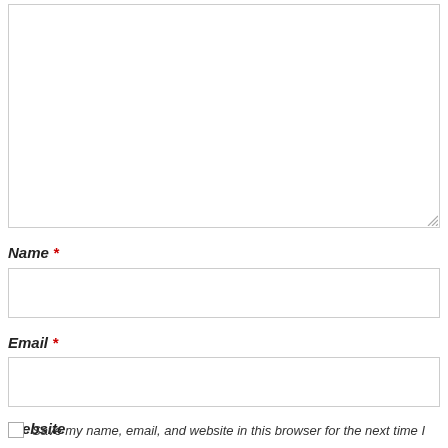[Figure (other): Textarea input field with resize handle at bottom right]
Name *
[Figure (other): Name text input field]
Email *
[Figure (other): Email text input field]
Website
Save my name, email, and website in this browser for the next time I